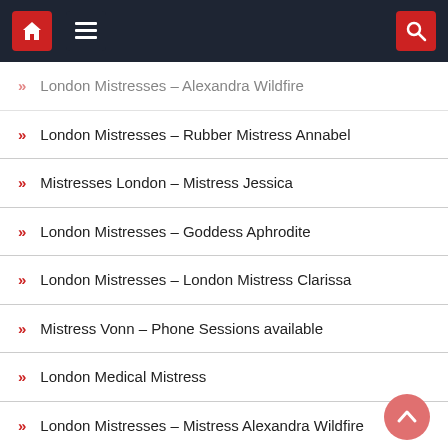Navigation bar with home, menu, and search icons
London Mistresses – Alexandra Wildfire
London Mistresses – Rubber Mistress Annabel
Mistresses London – Mistress Jessica
London Mistresses – Goddess Aphrodite
London Mistresses – London Mistress Clarissa
Mistress Vonn – Phone Sessions available
London Medical Mistress
London Mistresses – Mistress Alexandra Wildfire
Domina De Vi – available for online sessions
London Mistresses – Sir Claire Black is available for online